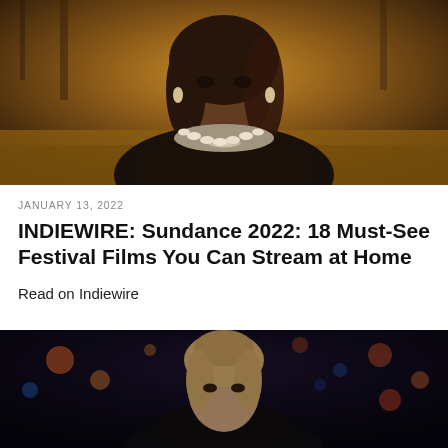[Figure (photo): Portrait photograph of a woman wearing a white shell/cowrie necklace and a dark jacket, with autumn trees and warm golden light in the background]
JANUARY 13, 2022
INDIEWIRE: Sundance 2022: 18 Must-See Festival Films You Can Stream at Home
Read on Indiewire
[Figure (photo): Portrait photograph of a woman with light brown hair in an updo, photographed at night with city bokeh lights in the background]